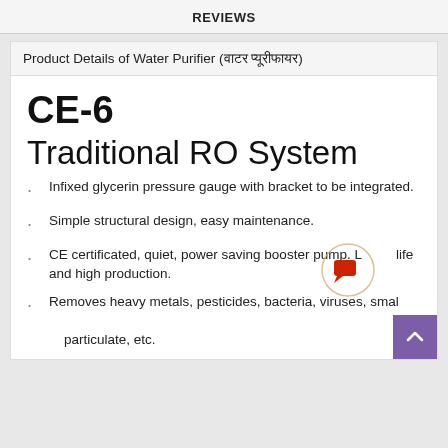REVIEWS
Product Details of Water Purifier (वाटर प्यूरीफायर)
CE-6
Traditional RO System
Infixed glycerin pressure gauge with bracket to be integrated.
Simple structural design, easy maintenance.
CE certificated, quiet, power saving booster pump. Long life and high production.
Removes heavy metals, pesticides, bacteria, viruses, small particulate, etc.